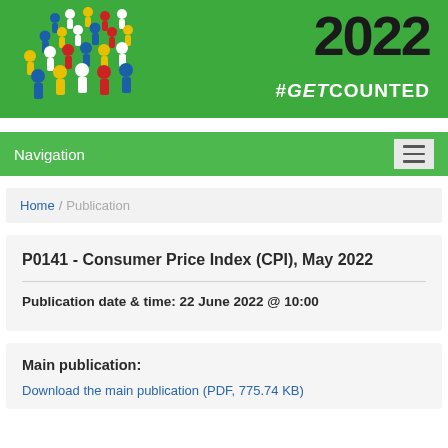[Figure (illustration): Green banner with colorful people silhouettes on left, '2022' in large bold black text, '#GETCOUNTED' in white bold italic text on green background]
Navigation
Home / Publication
P0141 - Consumer Price Index (CPI), May 2022
Publication date & time: 22 June 2022 @ 10:00
Main publication:
Download the main publication (PDF, 775.74 KB)